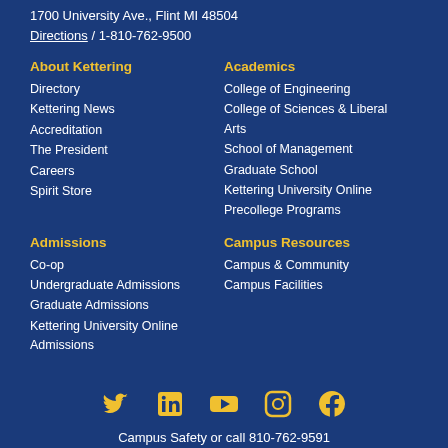1700 University Ave., Flint MI 48504
Directions / 1-810-762-9500
About Kettering
Directory
Kettering News
Accreditation
The President
Careers
Spirit Store
Academics
College of Engineering
College of Sciences & Liberal Arts
School of Management
Graduate School
Kettering University Online
Precollege Programs
Admissions
Co-op
Undergraduate Admissions
Graduate Admissions
Kettering University Online Admissions
Campus Resources
Campus & Community
Campus Facilities
[Figure (infographic): Social media icons row: Twitter, LinkedIn, YouTube, Instagram, Facebook]
Campus Safety or call 810-762-9591